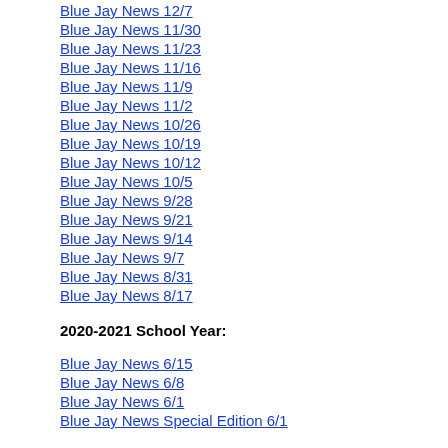Blue Jay News 12/7
Blue Jay News 11/30
Blue Jay News 11/23
Blue Jay News 11/16
Blue Jay News 11/9
Blue Jay News 11/2
Blue Jay News 10/26
Blue Jay News 10/19
Blue Jay News 10/12
Blue Jay News 10/5
Blue Jay News 9/28
Blue Jay News 9/21
Blue Jay News 9/14
Blue Jay News 9/7
Blue Jay News 8/31
Blue Jay News 8/17
2020-2021 School Year:
Blue Jay News 6/15
Blue Jay News 6/8
Blue Jay News 6/1
Blue Jay News Special Edition 6/1